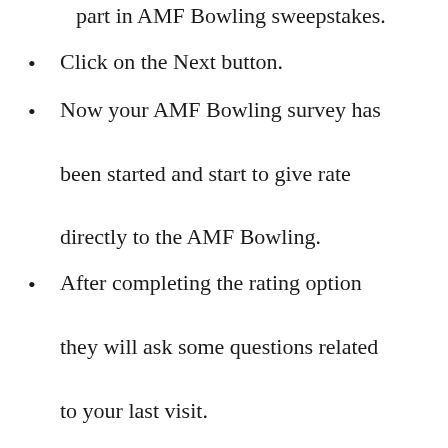part in AMF Bowling sweepstakes.
Click on the Next button.
Now your AMF Bowling survey has been started and start to give rate directly to the AMF Bowling.
After completing the rating option they will ask some questions related to your last visit.
Give that all answers to the question carefully and honestly.
Now provide your valid contact